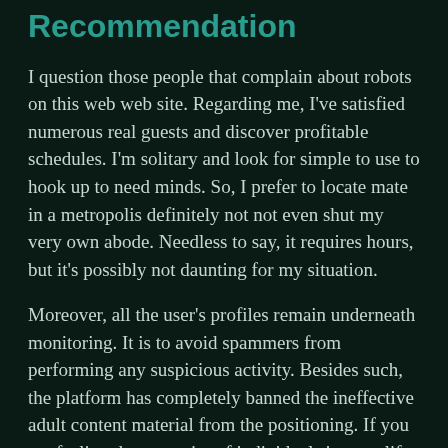Recommendation
I question those people that complain about robots on this web web site. Regarding me, I've satisfied numerous real guests and discover profitable schedules. I'm solitary and look for simple to use to hook up to need minds. So, I prefer to locate mate in a metropolis definitely not not even shut my very own abode. Needless to say, it requires hours, but it's possibly not daunting for my situation.
Moreover, all the user's profiles remain underneath monitoring. It is to avoid spammers from performing any suspicious activity. Besides such, the platform has completely banned the ineffective adult content material from the positioning. If you are feeling the necessity of individuals in your life, you can be part of from many obtainable chat rooms. The platform holds chat rooms